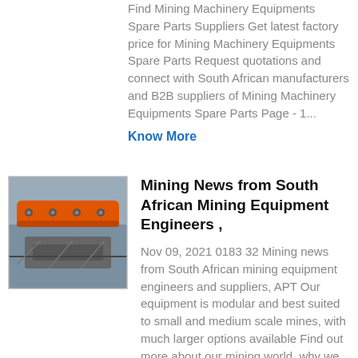Find Mining Machinery Equipments Spare Parts Suppliers Get latest factory price for Mining Machinery Equipments Spare Parts Request quotations and connect with South African manufacturers and B2B suppliers of Mining Machinery Equipments Spare Parts Page - 1...
Know More
[Figure (photo): Photo of mining equipment components, showing orange and grey mechanical parts with bolts]
Mining News from South African Mining Equipment Engineers ,
Nov 09, 2021 0183 32 Mining news from South African mining equipment engineers and suppliers, APT Our equipment is modular and best suited to small and medium scale mines, with much larger options available Find out more about our mining world, why we are involved in mining and more about the mining equipment we supply here...